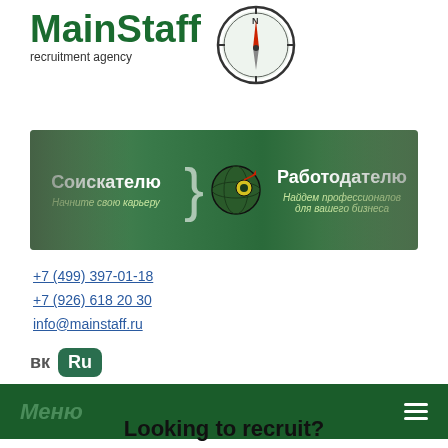[Figure (logo): MainStaff recruitment agency logo with compass icon]
[Figure (infographic): Banner with Соискателю (Job seeker) on left and Работодателю (Employer) on right, with globe in center]
+7 (499) 397-01-18
+7 (926) 618 20 30
info@mainstaff.ru
[Figure (logo): VK and Ru social media icons]
Меню
Looking to recruit?